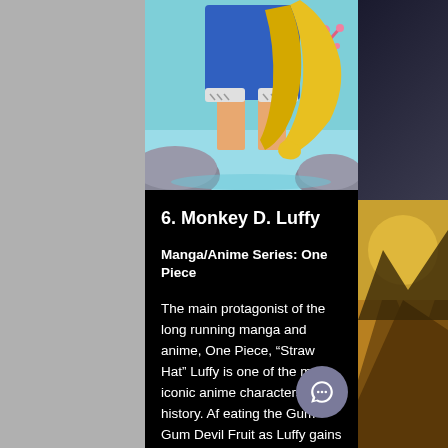[Figure (illustration): Anime character (Monkey D. Luffy) lower body shown from waist down, wearing blue shorts and no shoes, standing on rocks with a yellow coat/cape draped over, aqua/teal ocean background with pink coral decoration]
6. Monkey D. Luffy
Manga/Anime Series: One Piece
The main protagonist of the long running manga and anime, One Piece, “Straw Hat” Luffy is one of the most iconic anime characters in history. Af eating the Gum-Gum Devil Fruit as Luffy gains a body of rubber which